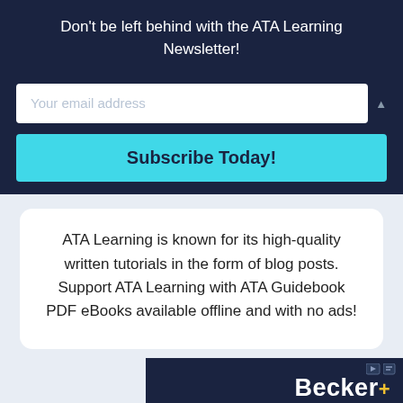Don't be left behind with the ATA Learning Newsletter!
Your email address
Subscribe Today!
ATA Learning is known for its high-quality written tutorials in the form of blog posts. Support ATA Learning with ATA Guidebook PDF eBooks available offline and with no ads!
[Figure (logo): Becker logo with navigation icons on dark navy background]